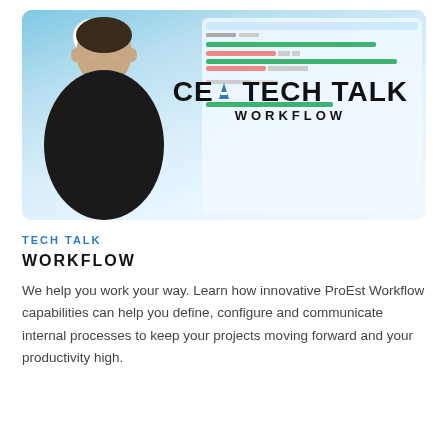[Figure (photo): Promotional image for CEO Tech Talk Workflow featuring a man in a black shirt against a blue background with a software screenshot interface and the text 'CEO TECH TALK WORKFLOW']
TECH TALK
WORKFLOW
We help you work your way. Learn how innovative ProEst Workflow capabilities can help you define, configure and communicate internal processes to keep your projects moving forward and your productivity high.